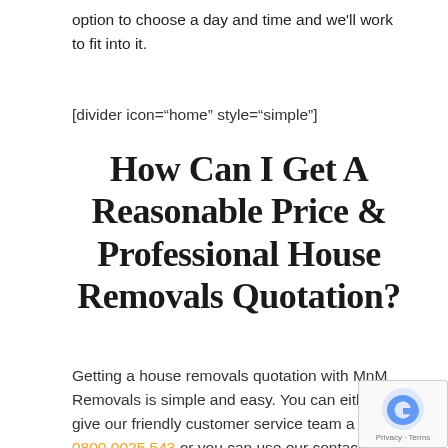option to choose a day and time and we'll work to fit into it.
[divider icon="home" style="simple"]
How Can I Get A Reasonable Price & Professional House Removals Quotation?
Getting a house removals quotation with MnM Removals is simple and easy. You can either give our friendly customer service team a call on 0800 0025 543 or you can use our contact form through our contact us page on our website or you can email us at...